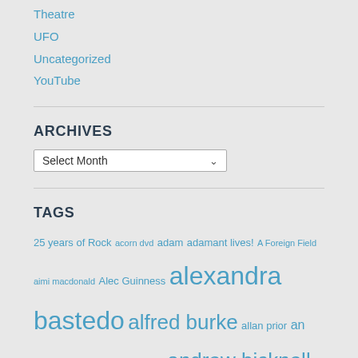Theatre
UFO
Uncategorized
YouTube
ARCHIVES
Select Month
TAGS
25 years of Rock acorn dvd adam adamant lives! A Foreign Field aimi macdonald Alec Guinness alexandra bastedo alfred burke allan prior an age of kings andre morell andrew bicknell andrew burt andrew davies andy rashleigh an englishman's castle angela bruce angela douglas angels anneke wills ann lynn anouska hempel anthony bate anthony newley anthony perkins anthony valentine anton rodgers an unearthly child are you being served arthur c. clarke's mysterious world ashley knight at last the 1948 show a very peculiar practice